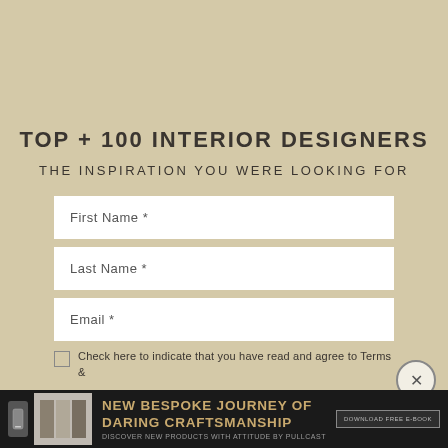TOP + 100 INTERIOR DESIGNERS
THE INSPIRATION YOU WERE LOOKING FOR
First Name *
Last Name *
Email *
Check here to indicate that you have read and agree to Terms &
NEW BESPOKE JOURNEY OF DARING CRAFTSMANSHIP
DISCOVER NEW PRODUCTS WITH ATTITUDE BY PULLCAST
DOWNLOAD FREE E-BOOK